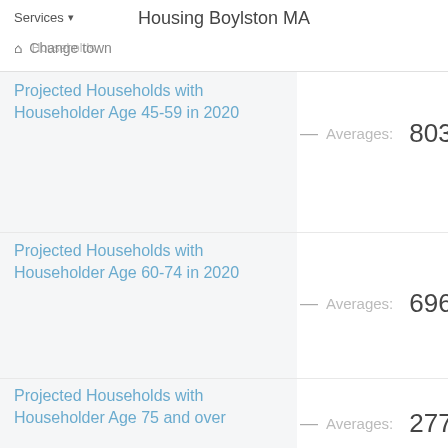Services ▾   Housing Boylston MA
🏠 Change town
Projected Households with Householder Age 45-59 in 2020
— Averages: 803
Projected Households with Householder Age 60-74 in 2020
— Averages: 696
Projected Households with Householder Age 75 and over
— Averages: 277